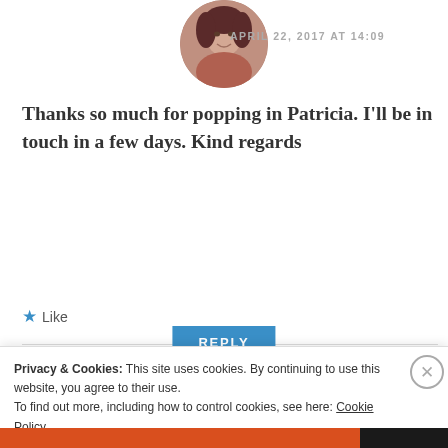[Figure (photo): Circular avatar of an older woman with dark hair, pinkish background]
APRIL 22, 2017 AT 14:09
Thanks so much for popping in Patricia. I'll be in touch in a few days. Kind regards
★ Like
REPLY
[Figure (photo): Circular avatar of a young woman with blonde hair]
harmonykentonline
Privacy & Cookies: This site uses cookies. By continuing to use this website, you agree to their use.
To find out more, including how to control cookies, see here: Cookie Policy
Close and accept